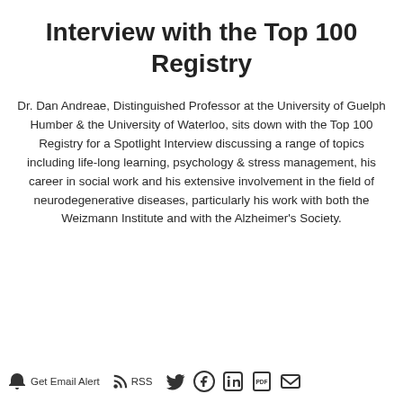Interview with the Top 100 Registry
Dr. Dan Andreae, Distinguished Professor at the University of Guelph Humber & the University of Waterloo, sits down with the Top 100 Registry for a Spotlight Interview discussing a range of topics including life-long learning, psychology & stress management, his career in social work and his extensive involvement in the field of neurodegenerative diseases, particularly his work with both the Weizmann Institute and with the Alzheimer's Society.
Get Email Alert  RSS  [Twitter] [Facebook] [LinkedIn] [PDF] [Email]